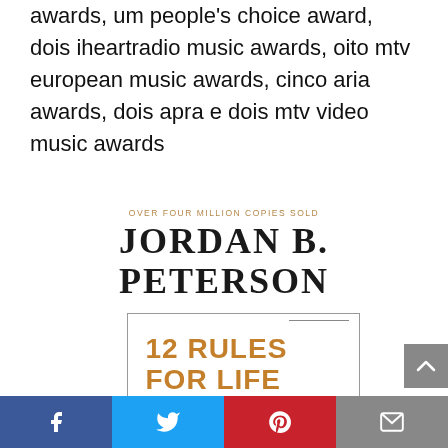awards, um people's choice award, dois iheartradio music awards, oito mtv european music awards, cinco aria awards, dois apra e dois mtv video music awards
[Figure (illustration): Book cover of '12 Rules for Life: An Antidote to Chaos' by Jordan B. Peterson. Shows author name at top in large serif font, tagline 'Over four million copies sold' in small caps, and book title '12 Rules for Life' in large bold orange/gold sans-serif letters inside a bordered rectangle with an arrow decoration. Subtitle 'An Antidote to Chaos' appears at the bottom.]
Facebook | Twitter | Pinterest | Email